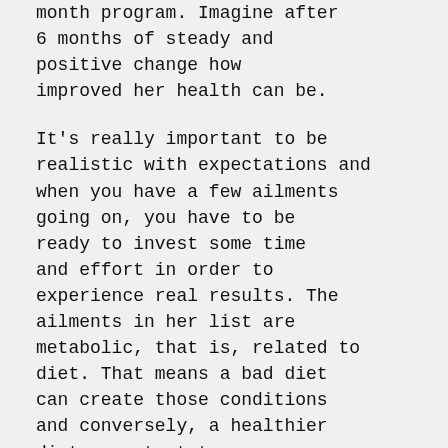month program. Imagine after 6 months of steady and positive change how improved her health can be.
It's really important to be realistic with expectations and when you have a few ailments going on, you have to be ready to invest some time and effort in order to experience real results. The ailments in her list are metabolic, that is, related to diet. That means a bad diet can create those conditions and conversely, a healthier diet can start to reverse them.
Hope that helps!
My best,